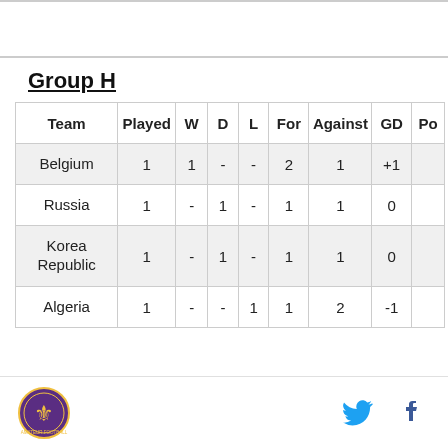Group H
| Team | Played | W | D | L | For | Against | GD | Pts |
| --- | --- | --- | --- | --- | --- | --- | --- | --- |
| Belgium | 1 | 1 | - | - | 2 | 1 | +1 |  |
| Russia | 1 | - | 1 | - | 1 | 1 | 0 |  |
| Korea Republic | 1 | - | 1 | - | 1 | 1 | 0 |  |
| Algeria | 1 | - | - | 1 | 1 | 2 | -1 |  |